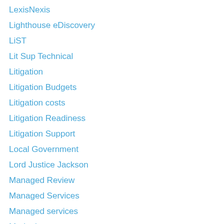LexisNexis
Lighthouse eDiscovery
LiST
Lit Sup Technical
Litigation
Litigation Budgets
Litigation costs
Litigation Readiness
Litigation Support
Local Government
Lord Justice Jackson
Managed Review
Managed Services
Managed services
Marketing
Masters Conference
Mediation and ADR
Mercantile Courts
Metadata
Millnet